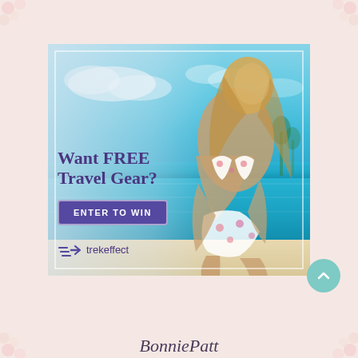[Figure (infographic): Advertisement banner for Trekeffect brand showing a woman in a floral bikini on a tropical beach with turquoise water. Text overlay reads 'Want FREE Travel Gear?' with an 'ENTER TO WIN' button and the Trekeffect logo.]
[Figure (other): Teal circular scroll-to-top button with an upward-pointing chevron arrow]
BonniePatt (cursive script, partially visible at bottom)